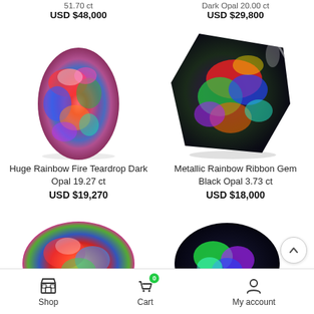51.70 ct (partial, top left)
Dark Opal 20.00 ct (partial, top right)
USD $48,000
USD $29,800
[Figure (photo): Huge Rainbow Fire Teardrop Dark Opal gemstone, colorful red/blue/green opal]
[Figure (photo): Metallic Rainbow Ribbon Gem Black Opal, dark gem with vivid multicolor play of color]
Huge Rainbow Fire Teardrop Dark Opal 19.27 ct
USD $19,270
Metallic Rainbow Ribbon Gem Black Opal 3.73 ct
USD $18,000
[Figure (photo): Partial view of a colorful opal gemstone (bottom left), cropped]
[Figure (photo): Partial view of a dark opal gemstone (bottom right), cropped]
Shop | Cart | My account